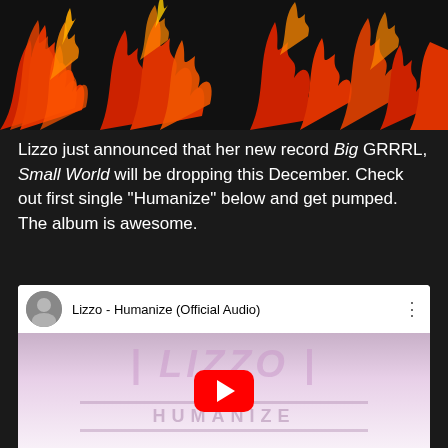[Figure (photo): Flames/fire image on black background, showing orange and red flames against a dark background]
Lizzo just announced that her new record Big GRRRL, Small World will be dropping this December. Check out first single "Humanize" below and get pumped. The album is awesome.
[Figure (screenshot): YouTube embed showing Lizzo - Humanize (Official Audio) with a red play button overlay and pink/purple Lizzo logo thumbnail background with HUMANIZE text]